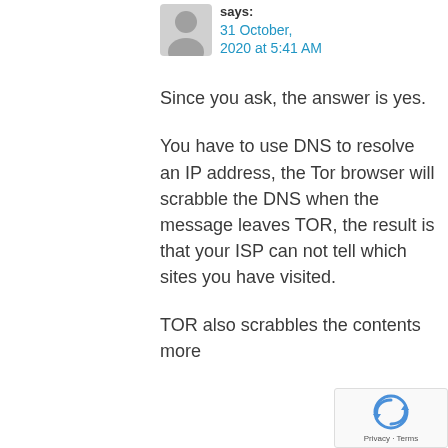says:
31 October, 2020 at 5:41 AM
Since you ask, the answer is yes.
You have to use DNS to resolve an IP address, the Tor browser will scrabble the DNS when the message leaves TOR, the result is that your ISP can not tell which sites you have visited.
TOR also scrabbles the contents more